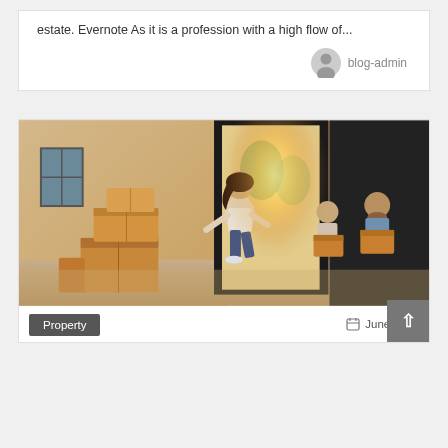estate. Evernote As it is a profession with a high flow of...
blog-admin
[Figure (photo): A family moving into a new home. A young girl runs excitedly through the front door while her parents carry cardboard boxes. Moving boxes are stacked inside the room. Warm sunlight floods through the entrance.]
Property
June 1, 20...